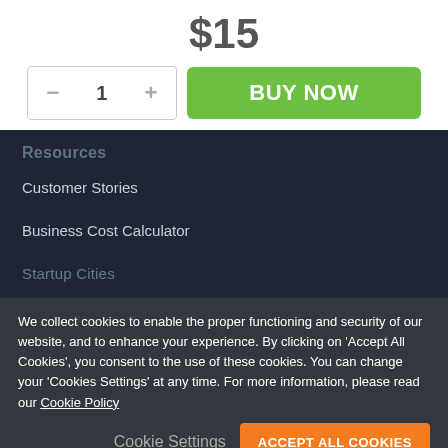$15
- 1 +
BUY NOW
Resources
Customer Stories
Business Cost Calculator
Startup Cities
We collect cookies to enable the proper functioning and security of our website, and to enhance your experience. By clicking on 'Accept All Cookies', you consent to the use of these cookies. You can change your 'Cookies Settings' at any time. For more information, please read our Cookie Policy
Cookie Settings
ACCEPT ALL COOKIES